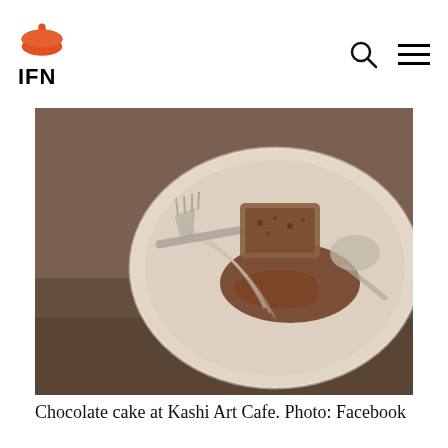IFN
[Figure (photo): Close-up photo of chocolate cake on a plate with a fork, taken at Kashi Art Cafe]
Chocolate cake at Kashi Art Cafe. Photo: Facebook
Iftar: Want a taste of some delicious Malabari (of North Kerala) cuisine? Head to Iftar.
Usually packed most of the times, Iftar serves a mix of sweet and savoury snacks like Unnakaya (banana fried in batter) Muttamala (custard made from egg and batter) With ghee (stuffed...